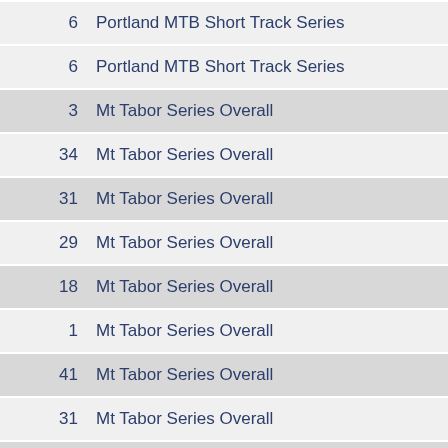6  Portland MTB Short Track Series
6  Portland MTB Short Track Series
3  Mt Tabor Series Overall
34  Mt Tabor Series Overall
31  Mt Tabor Series Overall
29  Mt Tabor Series Overall
18  Mt Tabor Series Overall
1  Mt Tabor Series Overall
41  Mt Tabor Series Overall
31  Mt Tabor Series Overall
2  Mt Tabor Series Overall